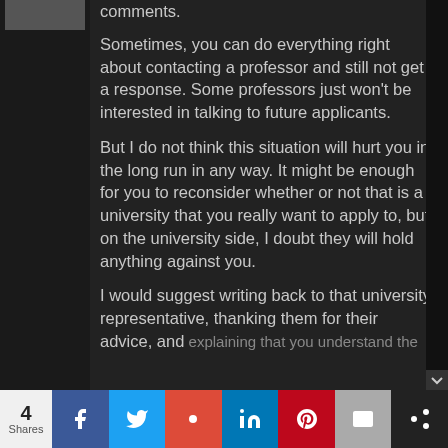comments.
Sometimes, you can do everything right about contacting a professor and still not get a response. Some professors just won't be interested in talking to future applicants.
But I do not think this situation will hurt you in the long run in any way. It might be enough for you to reconsider whether or not that is a university that you really want to apply to, but on the university side, I doubt they will hold anything against you.
I would suggest writing back to that university representative, thanking them for their advice, and explaining that you understand the...
4 Shares | Share buttons: Facebook, Twitter, Google+, LinkedIn, Pinterest, Email, More